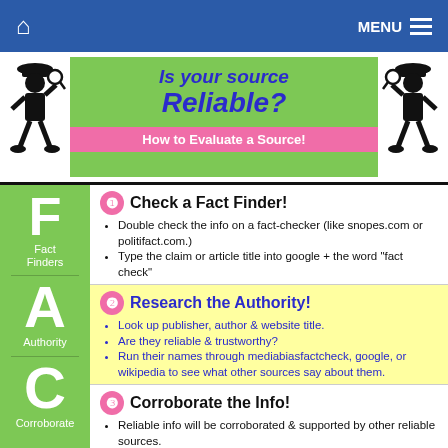Home | MENU
Is your source Reliable?
How to Evaluate a Source!
1. Check a Fact Finder!
Double check the info on a fact-checker (like snopes.com or politifact.com.)
Type the claim or article title into google + the word "fact check"
2. Research the Authority!
Look up publisher, author & website title.
Are they reliable & trustworthy?
Run their names through mediabiasfactcheck, google, or wikipedia to see what other sources say about them.
3. Corroborate the Info!
Reliable info will be corroborated & supported by other reliable sources.
Check to see if other, unrelated sources confirm the same info your source claims